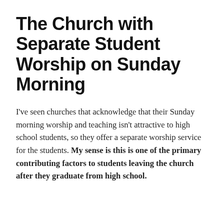The Church with Separate Student Worship on Sunday Morning
I've seen churches that acknowledge that their Sunday morning worship and teaching isn't attractive to high school students, so they offer a separate worship service for the students. My sense is this is one of the primary contributing factors to students leaving the church after they graduate from high school.